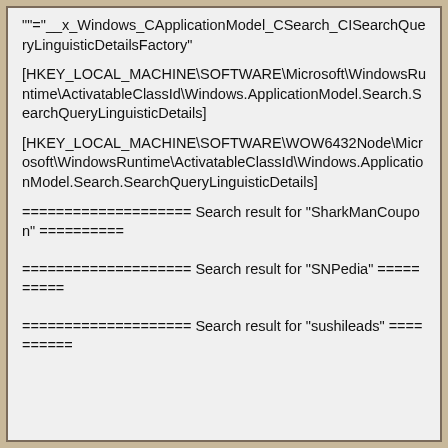""="__x_Windows_CApplicationModel_CSearch_CISearchQueryLinguisticDetailsFactory"
[HKEY_LOCAL_MACHINE\SOFTWARE\Microsoft\WindowsRuntime\ActivatableClassId\Windows.ApplicationModel.Search.SearchQueryLinguisticDetails]
[HKEY_LOCAL_MACHINE\SOFTWARE\WOW6432Node\Microsoft\WindowsRuntime\ActivatableClassId\Windows.ApplicationModel.Search.SearchQueryLinguisticDetails]
==================== Search result for "SharkManCoupon" ==========
==================== Search result for "SNPedia" ==========
==================== Search result for "sushileads" ==========